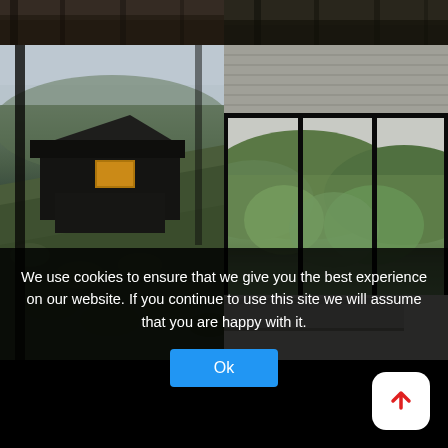[Figure (photo): Top-left: partial view of forested hillside scene (cropped top portion)]
[Figure (photo): Top-right: partial view of dark forest/tree scene (cropped top portion)]
[Figure (photo): Mid-left: Modern dark wood angular house perched on a steep grassy hillside surrounded by trees]
[Figure (photo): Mid-right: Interior view through floor-to-ceiling glass windows looking out at green mountain landscape with grey ceiling and white counter/table]
We use cookies to ensure that we give you the best experience on our website. If you continue to use this site we will assume that you are happy with it.
Ok